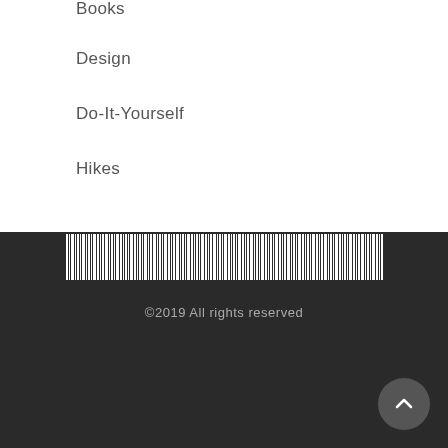Books
Design
Do-It-Yourself
Hikes
[Figure (other): Barcode / striped decorative bar spanning the width of the footer area]
©2019 All rights reserved